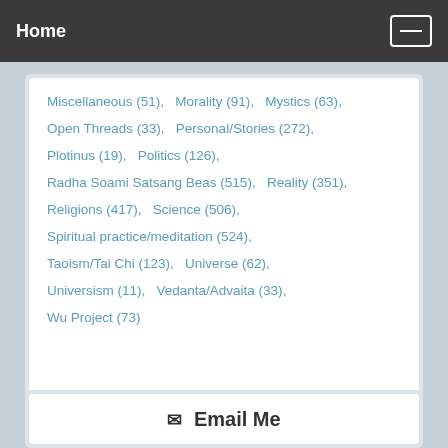Home
Miscellaneous (51),   Morality (91),   Mystics (63),
Open Threads (33),   Personal/Stories (272),
Plotinus (19),   Politics (126),
Radha Soami Satsang Beas (515),   Reality (351),
Religions (417),   Science (506),
Spiritual practice/meditation (524),
Taoism/Tai Chi (123),   Universe (62),
Universism (11),   Vedanta/Advaita (33),
Wu Project (73)
✉ Email Me